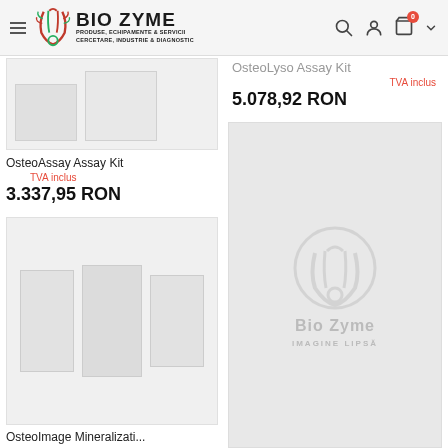Bio Zyme – PRODUSE, ECHIPAMENTE & SERVICII CERCETARE, INDUSTRIE & DIAGNOSTIC
OsteoLyso Assay Kit
TVA inclus
5.078,92 RON
[Figure (photo): Partial product image for OsteoAssay Assay Kit]
OsteoAssay Assay Kit
TVA inclus
3.337,95 RON
[Figure (photo): Partial product image placeholder for another kit showing rectangle outlines]
[Figure (photo): Bio Zyme placeholder image – IMAGINE LIPSĂ]
OsteoImage Mineralizati...